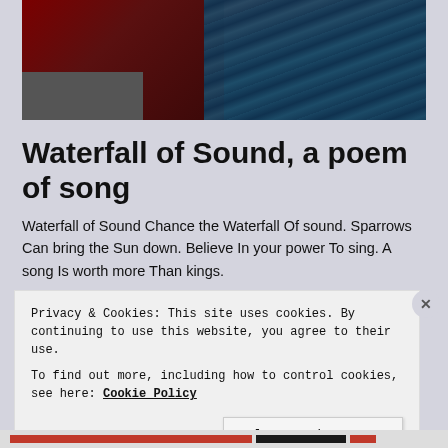[Figure (photo): A person in red robes sitting by water with ripples, photographed from above near rocks]
Waterfall of Sound, a poem of song
Waterfall of Sound Chance the Waterfall Of sound. Sparrows Can bring the Sun down. Believe In your power To sing. A song Is worth more Than kings. Continue reading
Privacy & Cookies: This site uses cookies. By continuing to use this website, you agree to their use.
To find out more, including how to control cookies, see here: Cookie Policy
Close and accept